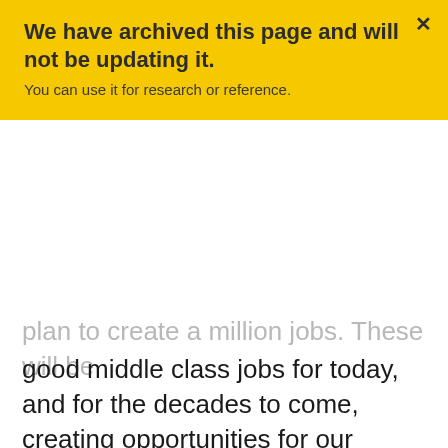We have archived this page and will not be updating it. You can use it for research or reference.
plan to create a million jobs. These will be good middle class jobs for today, and for the decades to come, creating opportunities for our current workforce and for our children and grandchildren. Canadians from all regions need to be part of this collective effort, and the government will also work to make many of these traditionally male-dominated industries more inclusive.